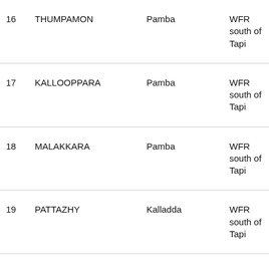| No. | Name | River | Zone |
| --- | --- | --- | --- |
| 16 | THUMPAMON | Pamba | WFR south of Tapi |
| 17 | KALLOOPPARA | Pamba | WFR south of Tapi |
| 18 | MALAKKARA | Pamba | WFR south of Tapi |
| 19 | PATTAZHY | Kalladda | WFR south of Tapi |
| 20 | AYILAM | Vamanapuram | WFR south of Tapi |
|  |  |  | WFR |